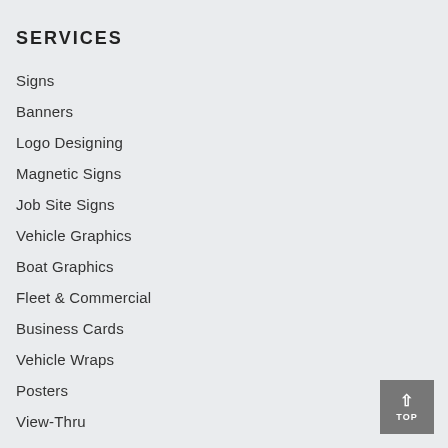SERVICES
Signs
Banners
Logo Designing
Magnetic Signs
Job Site Signs
Vehicle Graphics
Boat Graphics
Fleet & Commercial
Business Cards
Vehicle Wraps
Posters
View-Thru